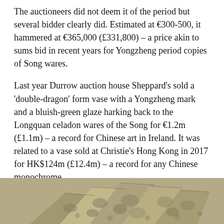The auctioneers did not deem it of the period but several bidder clearly did. Estimated at €300-500, it hammered at €365,000 (£331,800) – a price akin to sums bid in recent years for Yongzheng period copies of Song wares.
Last year Durrow auction house Sheppard's sold a 'double-dragon' form vase with a Yongzheng mark and a bluish-green glaze harking back to the Longquan celadon wares of the Song for €1.2m (£1.1m) – a record for Chinese art in Ireland. It was related to a vase sold at Christie's Hong Kong in 2017 for HK$124m (£12.4m) – a record for any Chinese monochrome.
3. First edition copies of Sylvia Plath poem – £22,000
[Figure (photo): Partial image of marbled book covers or pages, visible at the bottom of the page, with a mottled olive/khaki pattern.]